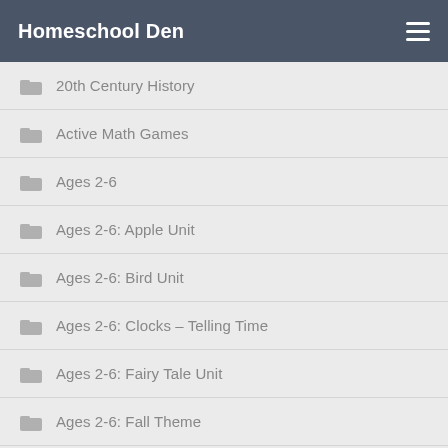Homeschool Den
20th Century History
Active Math Games
Ages 2-6
Ages 2-6: Apple Unit
Ages 2-6: Bird Unit
Ages 2-6: Clocks – Telling Time
Ages 2-6: Fairy Tale Unit
Ages 2-6: Fall Theme
Ages 2-6: Fire Safety